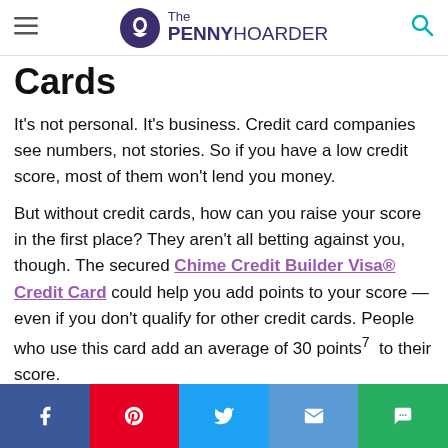The PENNY HOARDER
Cards
It's not personal. It's business. Credit card companies see numbers, not stories. So if you have a low credit score, most of them won't lend you money.
But without credit cards, how can you raise your score in the first place? They aren't all betting against you, though. The secured Chime Credit Builder Visa® Credit Card could help you add points to your score — even if you don't qualify for other credit cards. People who use this card add an average of 30 points⁷ to their score.
Chime doesn't ask you to pay annual fees, maintenance fees or interest charges — and you don't even have to have a hard credit check.
Facebook | Pinterest | Twitter | Mail | Chat